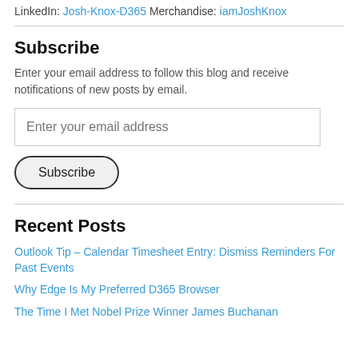LinkedIn: Josh-Knox-D365 Merchandise: iamJoshKnox
Subscribe
Enter your email address to follow this blog and receive notifications of new posts by email.
Enter your email address
Subscribe
Recent Posts
Outlook Tip – Calendar Timesheet Entry: Dismiss Reminders For Past Events
Why Edge Is My Preferred D365 Browser
The Time I Met Nobel Prize Winner James Buchanan